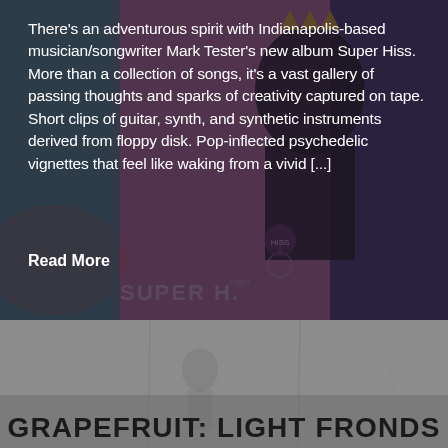[Figure (photo): Album artwork background for Super Hiss by Mark Tester — colorful graphic with teal/orange/pink shapes, silhouette of a figure, text SUPER H.ISS visible on sides, partially overlaid by dark semi-transparent layer]
There’s an adventurous spirit with Indianapolis-based musician/songwriter Mark Tester’s new album Super Hiss. More than a collection of songs, it’s a vast gallery of passing thoughts and sparks of creativity captured on tape. Short clips of guitar, synth, and synthetic instruments derived from floppy disk. Pop-inflected psychedelic vignettes that feel like waking from a vivid [...]
Read More
[Figure (photo): Grayed photo background with faint figures or objects, below the album review section, above the title GRAPEFRUIT: LIGHT FRONDS]
GRAPEFRUIT: LIGHT FRONDS